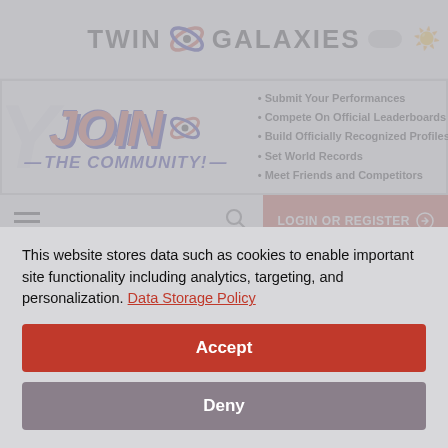[Figure (logo): Twin Galaxies logo with orbit icon, sun/moon toggle in top right]
[Figure (infographic): JOIN THE COMMUNITY! banner with bullet points: Submit Your Performances, Compete On Official Leaderboards, Build Officially Recognized Profiles, Set World Records, Meet Friends and Competitors]
[Figure (screenshot): Navigation bar with hamburger menu, search icon, and LOGIN OR REGISTER button]
League Bowling
Platform: MAME
This website stores data such as cookies to enable important site functionality including analytics, targeting, and personalization. Data Storage Policy
Accept
Deny